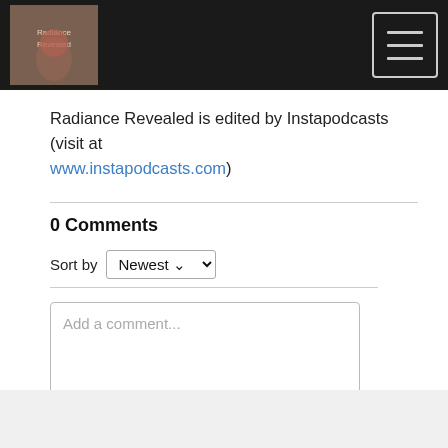[Figure (screenshot): Website navigation bar with a podcast logo image on the left and hamburger menu icon on the right, dark background]
Radiance Revealed is edited by Instapodcasts (visit at www.instapodcasts.com)
0 Comments
Sort by Newest
[Figure (screenshot): Comment input text area with placeholder text 'Add a comment...']
Facebook Comments Plugin